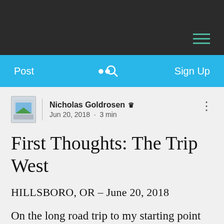≡ (hamburger menu)
Post   🔍   Sign Up
Nicholas Goldrosen 👑
Jun 20, 2018 · 3 min
First Thoughts: The Trip West
HILLSBORO, OR – June 20, 2018
On the long road trip to my starting point from Brooklyn, I made visits to all the tourist ports-of-call along the way, some popular and some isolated, some